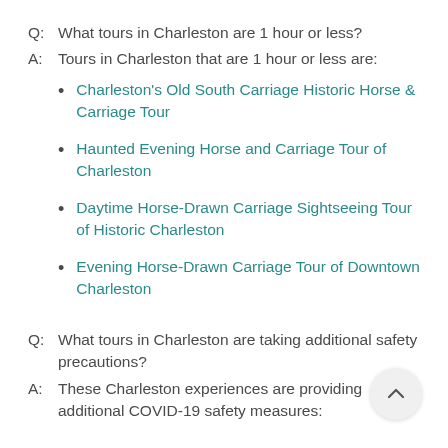Q:  What tours in Charleston are 1 hour or less?
A:  Tours in Charleston that are 1 hour or less are:
Charleston's Old South Carriage Historic Horse & Carriage Tour
Haunted Evening Horse and Carriage Tour of Charleston
Daytime Horse-Drawn Carriage Sightseeing Tour of Historic Charleston
Evening Horse-Drawn Carriage Tour of Downtown Charleston
Q:  What tours in Charleston are taking additional safety precautions?
A:  These Charleston experiences are providing additional COVID-19 safety measures: